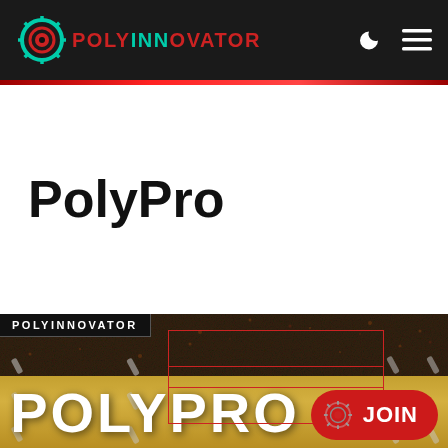[Figure (logo): PolyInnovator website screenshot showing dark navbar with gear logo and POLYINNOVATOR text, red separator line, white content area with bold PolyPro title text, and dark textured banner at bottom with POLYINNOVATOR label, red bounding boxes, gold stripe, POLYPRO text, and a red JOIN button with gear icon]
POLYINNOVATOR
PolyPro
POLYINNOVATOR
POLYPRO
JOIN